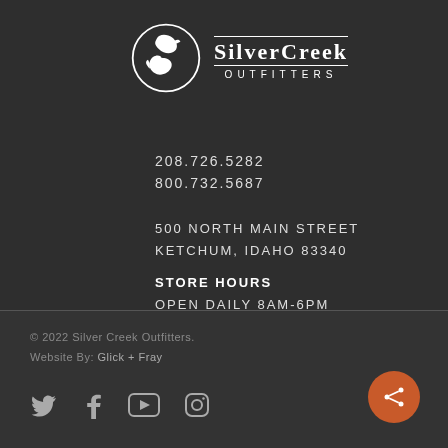[Figure (logo): Silver Creek Outfitters logo: white circle with fish silhouette, text SILVERCREEK OUTFITTERS]
208.726.5282
800.732.5687
500 NORTH MAIN STREET
KETCHUM, IDAHO  83340
STORE HOURS
OPEN DAILY 8AM-6PM
© 2022 Silver Creek Outfitters.
Website By: Glick + Fray
[Figure (illustration): Social media icons: Twitter, Facebook, YouTube, Instagram]